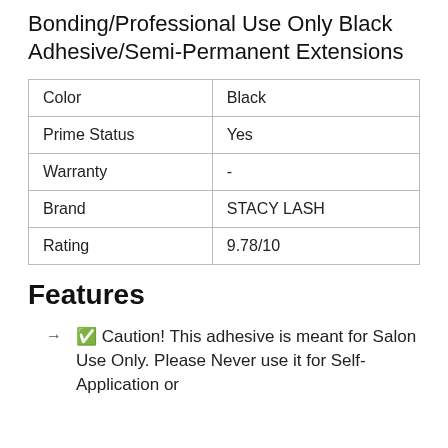Bonding/Professional Use Only Black Adhesive/Semi-Permanent Extensions
| Color | Black |
| Prime Status | Yes |
| Warranty | - |
| Brand | STACY LASH |
| Rating | 9.78/10 |
Features
✅ Caution! This adhesive is meant for Salon Use Only. Please Never use it for Self-Application or